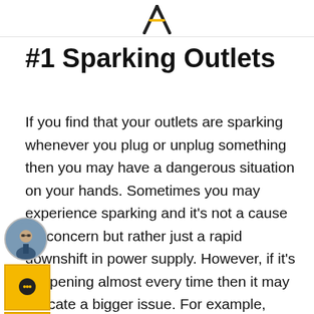⚡ (lightning bolt logo)
#1 Sparking Outlets
If you find that your outlets are sparking whenever you plug or unplug something then you may have a dangerous situation on your hands. Sometimes you may experience sparking and it's not a cause for concern but rather just a rapid downshift in power supply. However, if it's happening almost every time then it may indicate a bigger issue. For example, there may be excessive heat buildup in the outlets which can cause electrical fires. If you are experiencing this problem it is best to…